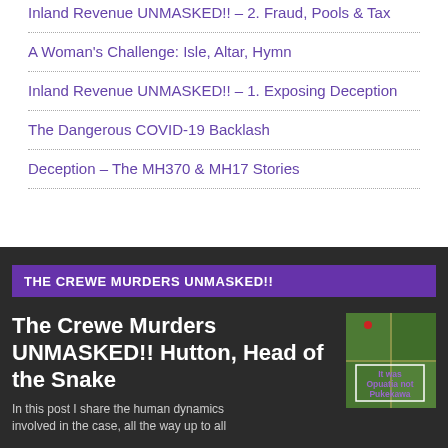Inland Revenue UNMASKED!! – 2. Fraud, Pools & Tax
A Woman's Challenge: Isle, Altar, Hymn
Inland Revenue UNMASKED!! – 1. Exposing Deception
The Dangerous COVID-19 Backlash
Deception – The MH370 & MH17 Stories
THE CREWE MURDERS UNMASKED!!
The Crewe Murders UNMASKED!! Hutton, Head of the Snake
[Figure (photo): Aerial/satellite image with text overlay reading 'It was Opuatia not Pukekawa']
In this post I share the human dynamics involved in the case, all the way up to all